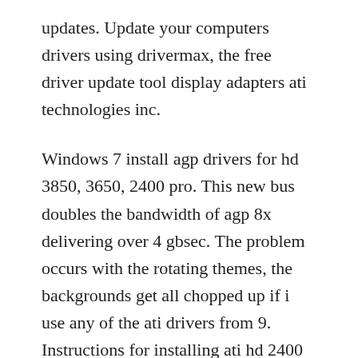updates. Update your computers drivers using drivermax, the free driver update tool display adapters ati technologies inc.
Windows 7 install agp drivers for hd 3850, 3650, 2400 pro. This new bus doubles the bandwidth of agp 8x delivering over 4 gbsec. The problem occurs with the rotating themes, the backgrounds get all chopped up if i use any of the ati drivers from 9. Instructions for installing ati hd 2400 pro agp, ati hd 3850 agp, ati hd. Free download driver utilities for sapphire graphics cards ati radeon hd 2400